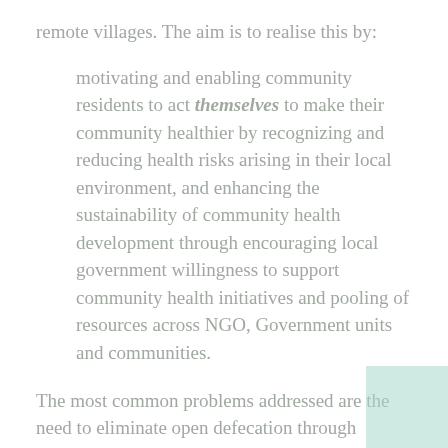remote villages. The aim is to realise this by:
motivating and enabling community residents to act themselves to make their community healthier by recognizing and reducing health risks arising in their local environment, and enhancing the sustainability of community health development through encouraging local government willingness to support community health initiatives and pooling of resources across NGO, Government units and communities.
The most common problems addressed are the need to eliminate open defecation through construction of sanitary toilets, the construction of pig pens to stop pigs roaming freely through the village where little children play on the ground,